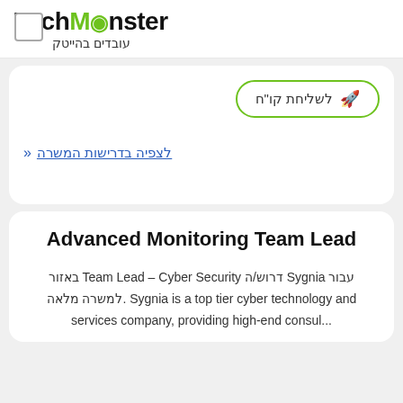TechMonster עובדים בהייטק
לשליחת קו"ח
לצפיה בדרישות המשרה «
Advanced Monitoring Team Lead
עבור Sygnia דרוש/ה Team Lead – Cyber Security באזור למשרה מלאה. Sygnia is a top tier cyber technology and services company, providing high-end consul…